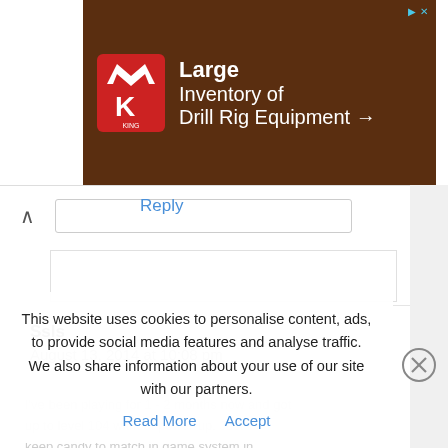[Figure (screenshot): Advertisement banner for King Oil Tools showing 'Large Inventory of Drill Rig Equipment' with a King logo on a dark brown background]
Reply
Ssls
August 13, 2014 at 10:08 pm
This website uses cookies to personalise content, ads, to provide social media features and analyse traffic. We also share information about your use of our site with our partners. Read More  Accept